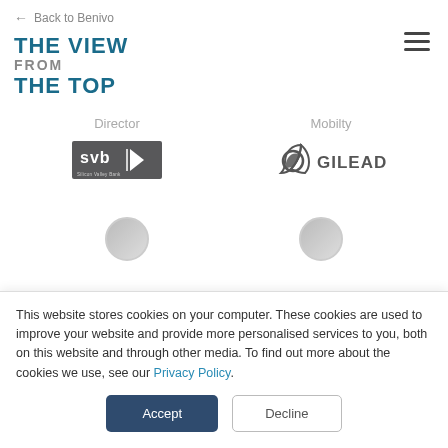← Back to Benivo
THE VIEW FROM THE TOP
[Figure (logo): Hamburger menu icon (three horizontal lines)]
Director
Mobilty
[Figure (logo): Silicon Valley Bank (svb) logo in grey box]
[Figure (logo): Gilead logo with leaf icon and GILEAD text]
This website stores cookies on your computer. These cookies are used to improve your website and provide more personalised services to you, both on this website and through other media. To find out more about the cookies we use, see our Privacy Policy.